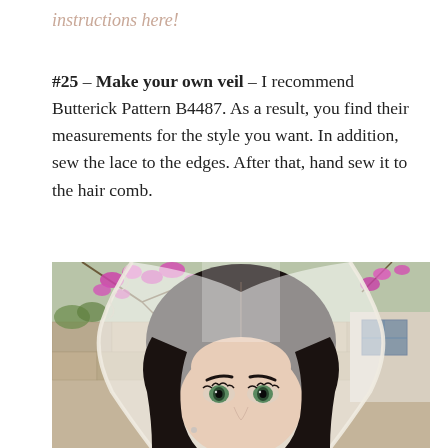instructions here!
#25 – Make your own veil – I recommend Butterick Pattern B4487.  As a result, you find their measurements for the style you want.  In addition, sew the lace to the edges.  After that, hand sew it to the hair comb.
[Figure (photo): Close-up photo of a bride wearing a white lace-edged veil over her dark hair, with green eyes visible, standing in front of a stone wall with pink bougainvillea flowers in the background.]